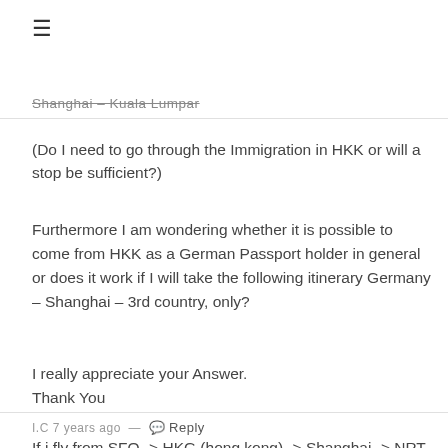≡
Shanghai – Kuala Lumpar
(Do I need to go through the Immigration in HKK or will a stop be sufficient?)
Furthermore I am wondering whether it is possible to come from HKK as a German Passport holder in general or does it work if I will take the following itinerary Germany – Shanghai – 3rd country, only?
I really appreciate your Answer.
Thank You
I.C 7 years ago — 💬 Reply
If i fly from SFO -> HKG (hong kong) -> Shanghai -> NRT